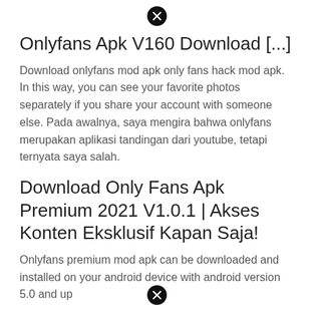[Figure (other): Close/dismiss button (circle with X) at top center]
Onlyfans Apk V160 Download [...]
Download onlyfans mod apk only fans hack mod apk. In this way, you can see your favorite photos separately if you share your account with someone else. Pada awalnya, saya mengira bahwa onlyfans merupakan aplikasi tandingan dari youtube, tetapi ternyata saya salah.
Download Only Fans Apk Premium 2021 V1.0.1 | Akses Konten Eksklusif Kapan Saja!
Onlyfans premium mod apk can be downloaded and installed on your android device with android version 5.0 and up
[Figure (other): Close/dismiss button (circle with X) at bottom center]